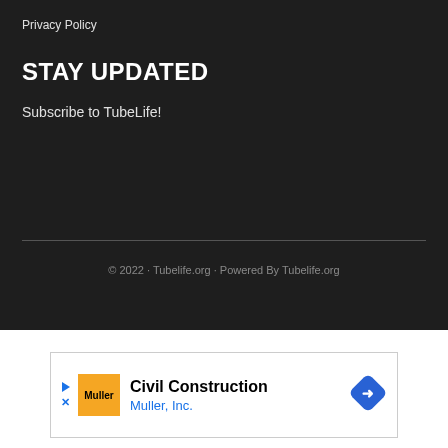Privacy Policy
STAY UPDATED
Subscribe to TubeLife!
© 2022 · Tubelife.org · Powered By Tubelife.org
[Figure (other): Advertisement banner for Civil Construction by Muller, Inc. featuring the Muller logo on an orange background and a blue diamond navigation icon on the right.]